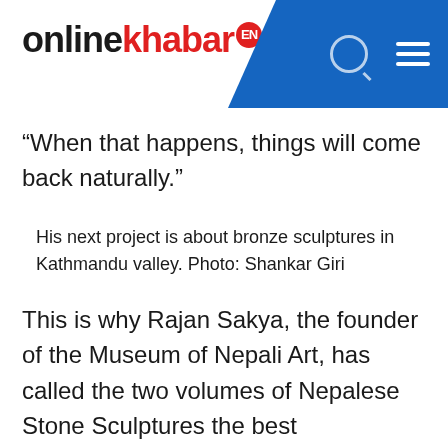onlinekhabar EN
“When that happens, things will come back naturally.”
His next project is about bronze sculptures in Kathmandu valley. Photo: Shankar Giri
This is why Rajan Sakya, the founder of the Museum of Nepali Art, has called the two volumes of Nepalese Stone Sculptures the best documentation in the history of Nepal.
“This book is like the Ramayana and he is